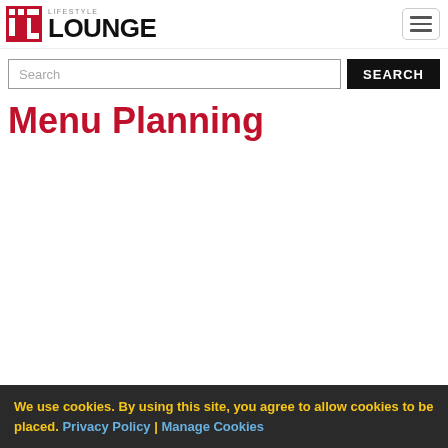Lifestyle Lounge — logo and navigation
Search
Menu Planning
We use cookies. By using this site, you agree to allow cookies to be placed. Privacy Policy | Manage Cookies